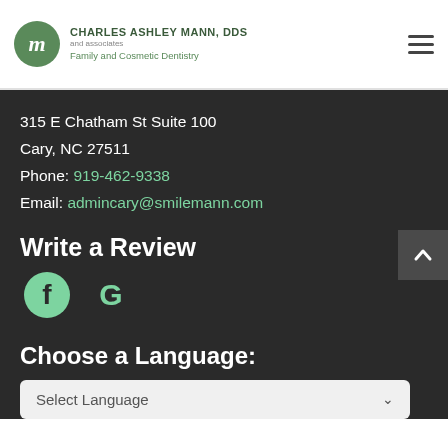CHARLES ASHLEY MANN, DDS and Associates Family and Cosmetic Dentistry
315 E Chatham St Suite 100
Cary, NC 27511
Phone: 919-462-9338
Email: admincary@smilemann.com
Write a Review
[Figure (logo): Facebook icon (green circle with f) and Google icon (green G)]
Choose a Language:
Select Language